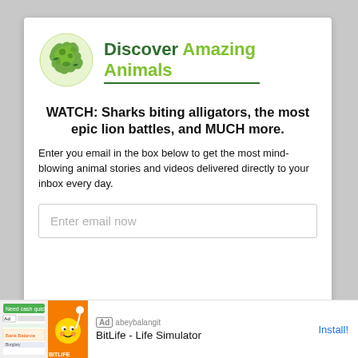[Figure (logo): Discover Amazing Animals logo with green animal silhouette globe icon and text 'Discover Amazing Animals']
WATCH: Sharks biting alligators, the most epic lion battles, and MUCH more.
Enter you email in the box below to get the most mind-blowing animal stories and videos delivered directly to your inbox every day.
Enter email now
[Figure (screenshot): Ad banner for BitLife - Life Simulator app with Install! button]